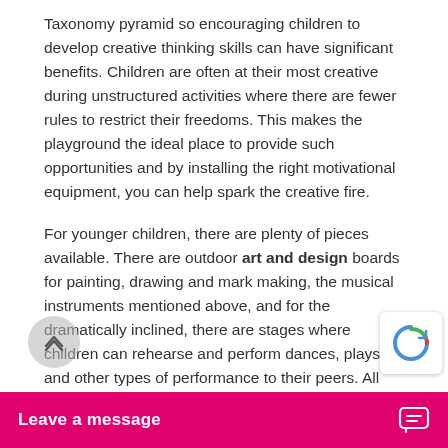Taxonomy pyramid so encouraging children to develop creative thinking skills can have significant benefits. Children are often at their most creative during unstructured activities where there are fewer rules to restrict their freedoms. This makes the playground the ideal place to provide such opportunities and by installing the right motivational equipment, you can help spark the creative fire.
For younger children, there are plenty of pieces available. There are outdoor art and design boards for painting, drawing and mark making, the musical instruments mentioned above, and for the dramatically inclined, there are stages where children can rehearse and perform dances, plays and other types of performance to their peers. All these forms of equipment can motivate early years pupils to tak...